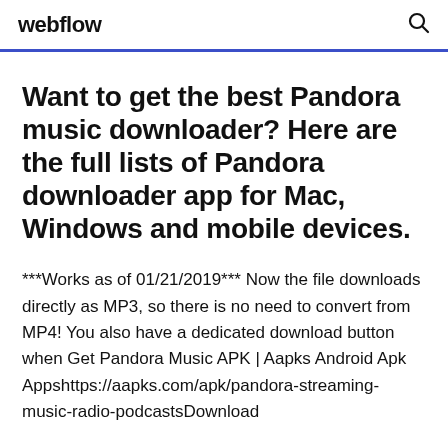webflow
Want to get the best Pandora music downloader? Here are the full lists of Pandora downloader app for Mac, Windows and mobile devices.
***Works as of 01/21/2019*** Now the file downloads directly as MP3, so there is no need to convert from MP4! You also have a dedicated download button when Get Pandora Music APK | Aapks Android Apk Appshttps://aapks.com/apk/pandora-streaming-music-radio-podcastsDownload